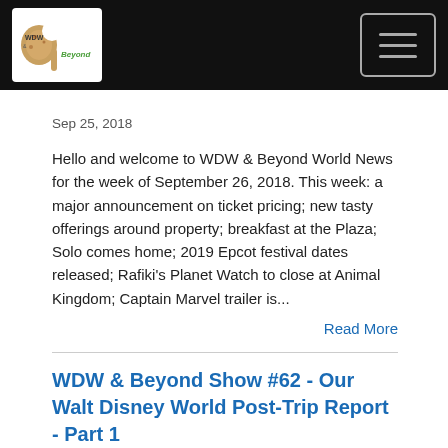[Figure (logo): WDW & Beyond logo with navigation bar on black background and hamburger menu button]
Sep 25, 2018
Hello and welcome to WDW & Beyond World News for the week of September 26, 2018. This week: a major announcement on ticket pricing; new tasty offerings around property; breakfast at the Plaza; Solo comes home; 2019 Epcot festival dates released; Rafiki's Planet Watch to close at Animal Kingdom; Captain Marvel trailer is...
Read More
WDW & Beyond Show #62 - Our Walt Disney World Post-Trip Report - Part 1